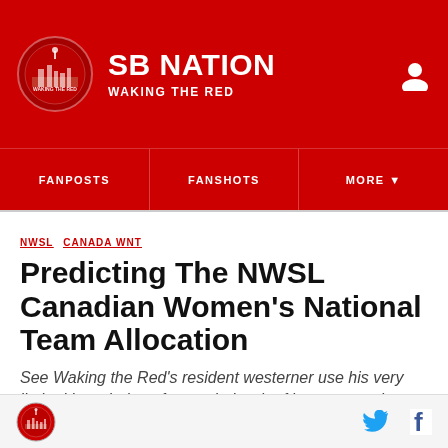SB NATION / WAKING THE RED
FANPOSTS   FANSHOTS   MORE
NWSL  CANADA WNT
Predicting The NWSL Canadian Women's National Team Allocation
See Waking the Red's resident westerner use his very limited knowledge of a tangled web of interpersonal relationships in US and Canadian women's soccer to figure out which